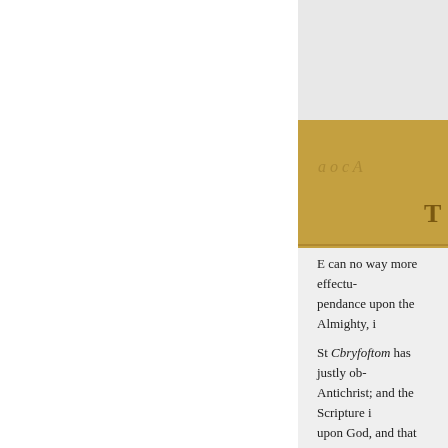[Figure (photo): Scanned book page showing spine with decorative gold/brown coloring and partial letter 'T' visible at right edge. Upper portion is gray background.]
E can no way more effectu- pendance upon the Almighty, i
St Chrysoftom has justly ob- Antichrist; and the Scripture i upon God, and that lives with- fins of this age, derive their fo
It is to little purpose, indee unless we can at the same tim Church. Many persons palliate care which God, as the God o families. It is certain that the g commanded us to do what we Sabbath-day holy. But for tho under them, to neglect the pu